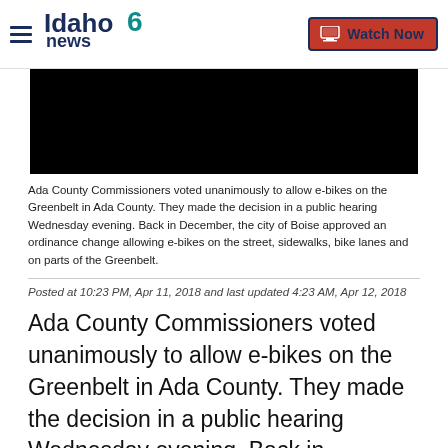Idaho News 6 — Watch Now
[Figure (screenshot): Black video placeholder thumbnail]
Ada County Commissioners voted unanimously to allow e-bikes on the Greenbelt in Ada County. They made the decision in a public hearing Wednesday evening. Back in December, the city of Boise approved an ordinance change allowing e-bikes on the street, sidewalks, bike lanes and on parts of the Greenbelt.
Posted at 10:23 PM, Apr 11, 2018 and last updated 4:23 AM, Apr 12, 2018
Ada County Commissioners voted unanimously to allow e-bikes on the Greenbelt in Ada County. They made the decision in a public hearing Wednesday evening. Back in December, the city of Boise approved an ordinance change allowing e-bikes on the street, sidewalks, bike lanes and on parts of the Greenbelt.